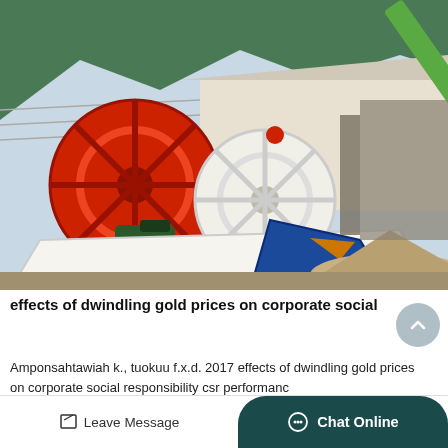[Figure (photo): Industrial sand washing machine with large red wheel and white wheel components, blue chute, green motor, set outdoors near a pile of sand/aggregate. Mountains and industrial structures visible in background.]
effects of dwindling gold prices on corporate social
Amponsahtawiah k., tuokuu f.x.d. 2017 effects of dwindling gold prices on corporate social responsibility csr performanc
Leave Message   Chat Online